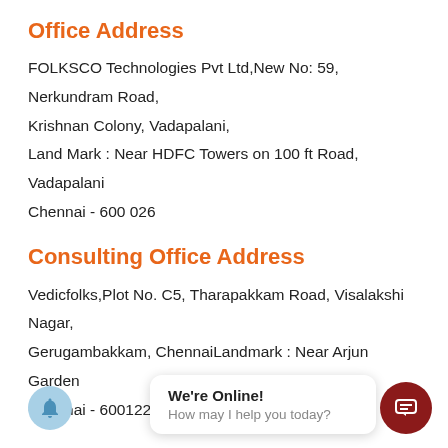Office Address
FOLKSCO Technologies Pvt Ltd,New No: 59, Nerkundram Road, Krishnan Colony, Vadapalani, Land Mark : Near HDFC Towers on 100 ft Road, Vadapalani Chennai - 600 026
Consulting Office Address
Vedicfolks,Plot No. C5, Tharapakkam Road, Visalakshi Nagar, Gerugambakkam, ChennaiLandmark : Near Arjun Garden Chennai - 600122.
[Figure (infographic): Chat widget with bell notification button on left, chat bubble saying 'We're Online! How may I help you today?' in center, and dark red chat icon button on right]